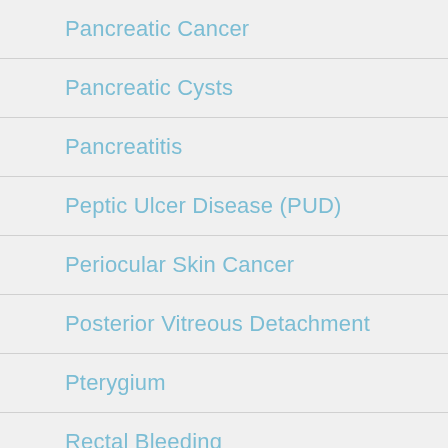Pancreatic Cancer
Pancreatic Cysts
Pancreatitis
Peptic Ulcer Disease (PUD)
Periocular Skin Cancer
Posterior Vitreous Detachment
Pterygium
Rectal Bleeding